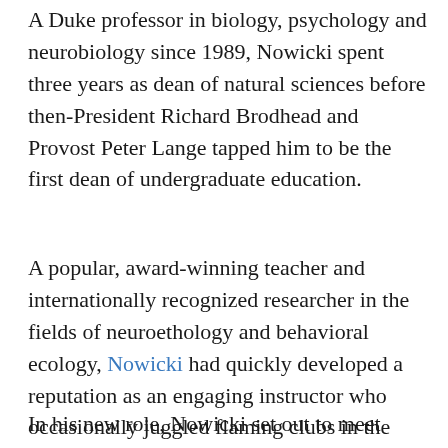A Duke professor in biology, psychology and neurobiology since 1989, Nowicki spent three years as dean of natural sciences before then-President Richard Brodhead and Provost Peter Lange tapped him to be the first dean of undergraduate education.
A popular, award-winning teacher and internationally recognized researcher in the fields of neuroethology and behavioral ecology, Nowicki had quickly developed a reputation as an engaging instructor who occasionally juggled flaming clubs in the classroom.
In his new role, Nowicki set out to meet students in their environment. He set up...